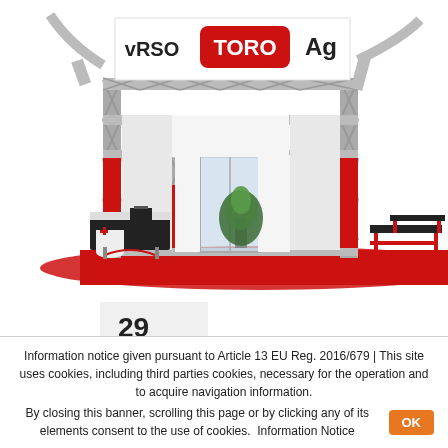[Figure (photo): Trade show exhibition booth for TORO Ag brand. The booth features a two-story metal truss structure with red accents, a large white banner displaying the TORO logo in red and the word 'Ag', glass entry doors, red carpet flooring, a reception desk area with computer equipment on the left, a plant, and display tables on the right. The structure has metallic silver lattice/truss framework throughout.]
29
JAN
2008
Information notice given pursuant to Article 13 EU Reg. 2016/679 | This site uses cookies, including third parties cookies, necessary for the operation and to acquire navigation information.
By closing this banner, scrolling this page or by clicking any of its elements consent to the use of cookies.  Information Notice  OK